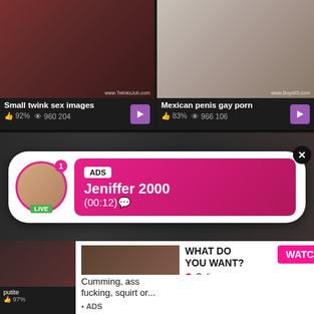[Figure (screenshot): Adult video thumbnail left - Small twink sex images, watermark www.TwinksJob.com]
Small twink sex images
👍 92%  👁 960 204
[Figure (screenshot): Adult video thumbnail right - Mexican penis gay porn, watermark www.Boys65.com]
Mexican penis gay porn
👍 83%  👁 966 106
[Figure (advertisement): Live chat ad overlay - Jeniffer 2000 (00:12) with ADS tag, pink gradient card, avatar with LIVE badge]
[Figure (advertisement): WHAT DO YOU WANT? ad with WATCH button, Online indicator, mini thumbnails, text: Cumming, ass fucking, squirt or... ADS]
putite
👍 97%